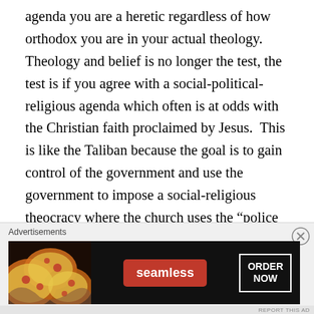agenda you are a heretic regardless of how orthodox you are in your actual theology.  Theology and belief is no longer the test, the test is if you agree with a social-political-religious agenda which often is at odds with the Christian faith proclaimed by Jesus.  This is like the Taliban because the goal is to gain control of the government and use the government to impose a social-religious theocracy where the church uses the “police power of the government” to achieve its goals.  Such a message is anathema to the Gospel and its redemptive message that “God was in Christ reconciling the world to himself, not counting men’s sins against them.” What many churches and Christian leaders have done is to for
Advertisements
[Figure (other): Seamless food delivery advertisement banner with pizza image on left, Seamless red pill button in center, and ORDER NOW text in white border box on right, on dark background.]